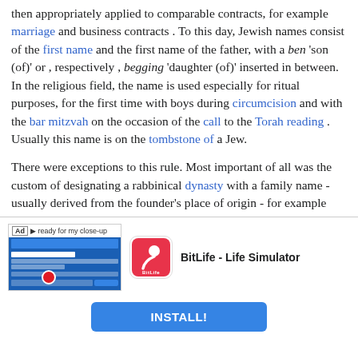then appropriately applied to comparable contracts, for example marriage and business contracts . To this day, Jewish names consist of the first name and the first name of the father, with a ben 'son (of)' or , respectively , begging 'daughter (of)' inserted in between. In the religious field, the name is used especially for ritual purposes, for the first time with boys during circumcision and with the bar mitzvah on the occasion of the call to the Torah reading . Usually this name is on the tombstone of a Jew.

There were exceptions to this rule. Most important of all was the custom of designating a rabbinical dynasty with a family name - usually derived from the founder's place of origin - for example von Katzenelnbogen or Emden . These surnames served partly as family names, partly as brand names, so to speak. Sons-in-law who became rabbis often inherited the ne, and sons who did not become rabbis most of the time
[Figure (screenshot): Mobile ad banner for BitLife - Life Simulator app with install button]